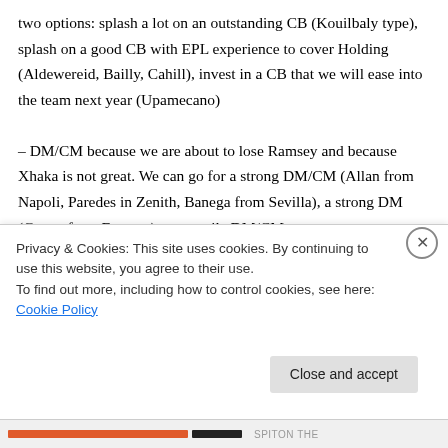two options: splash a lot on an outstanding CB (Kouilbaly type), splash on a good CB with EPL experience to cover Holding (Aldewereid, Bailly, Cahill), invest in a CB that we will ease into the team next year (Upamecano)

– DM/CM because we are about to lose Ramsey and because Xhaka is not great. We can go for a strong DM/CM (Allan from Napoli, Paredes in Zenith, Banega from Sevilla), a strong DM (Gueye from Everton), a versatile DM/CM
Privacy & Cookies: This site uses cookies. By continuing to use this website, you agree to their use.
To find out more, including how to control cookies, see here: Cookie Policy